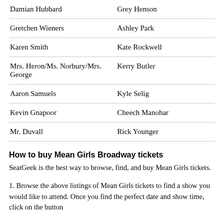| Character | Actor |
| --- | --- |
| Damian Hubbard | Grey Henson |
| Gretchen Wieners | Ashley Park |
| Karen Smith | Kate Rockwell |
| Mrs. Heron/Ms. Norbury/Mrs. George | Kerry Butler |
| Aaron Samuels | Kyle Selig |
| Kevin Gnapoor | Cheech Manohar |
| Mr. Duvall | Rick Younger |
How to buy Mean Girls Broadway tickets
SeatGeek is the best way to browse, find, and buy Mean Girls tickets.
1. Browse the above listings of Mean Girls tickets to find a show you would like to attend. Once you find the perfect date and show time, click on the button